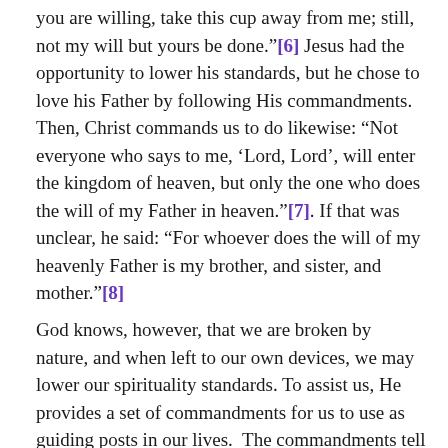you are willing, take this cup away from me; still, not my will but yours be done."[6] Jesus had the opportunity to lower his standards, but he chose to love his Father by following His commandments. Then, Christ commands us to do likewise: "Not everyone who says to me, 'Lord, Lord', will enter the kingdom of heaven, but only the one who does the will of my Father in heaven."[7]. If that was unclear, he said: "For whoever does the will of my heavenly Father is my brother, and sister, and mother."[8]
God knows, however, that we are broken by nature, and when left to our own devices, we may lower our spirituality standards. To assist us, He provides a set of commandments for us to use as guiding posts in our lives.  The commandments tell us how to worship and praise God, how to behave with our parents, with each other's, and in our community. When we follow the